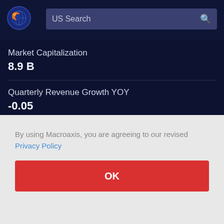[Figure (logo): Macroaxis globe logo — orange and blue circular icon]
US Search
Market Capitalization
8.9 B
Quarterly Revenue Growth YOY
-0.05
By using Macroaxis, you are agreeing to our revised Privacy Policy
OK
The market value of Dicks Sporting Goods is measured